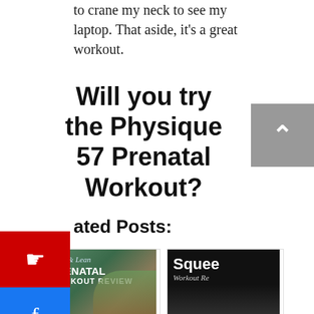to crane my neck to see my laptop. That aside, it's a great workout.
Will you try the Physique 57 Prenatal Workout?
Related Posts:
[Figure (photo): Long & Lean Prenatal Workout thumbnail image]
Long & Lean Prenatal Workout
[Figure (photo): Squeeze Barre Workout Review thumbnail image]
Squeeze Barre Workout Review
[Figure (photo): The Tracy Anderson 30-Day Method Book thumbnail image]
[Figure (photo): Tracy Anderson Method Teen Meta Workout Review thumbnail image]